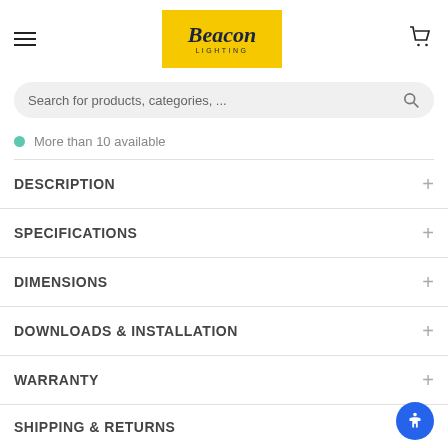[Figure (logo): Beacon Lighting logo on yellow background]
Search for products, categories, ...
More than 10 available
DESCRIPTION
SPECIFICATIONS
DIMENSIONS
DOWNLOADS & INSTALLATION
WARRANTY
SHIPPING & RETURNS